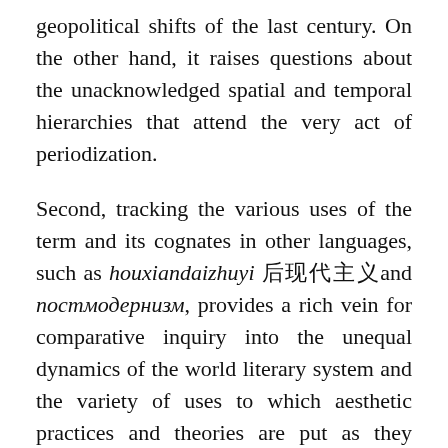geopolitical shifts of the last century. On the other hand, it raises questions about the unacknowledged spatial and temporal hierarchies that attend the very act of periodization.
Second, tracking the various uses of the term and its cognates in other languages, such as houxiandaizhuyi 后现代主义 and постмодернизм, provides a rich vein for comparative inquiry into the unequal dynamics of the world literary system and the variety of uses to which aesthetic practices and theories are put as they circulate within this system. At first glance, studying the spread of the term only exacerbates the habit of thinking periods